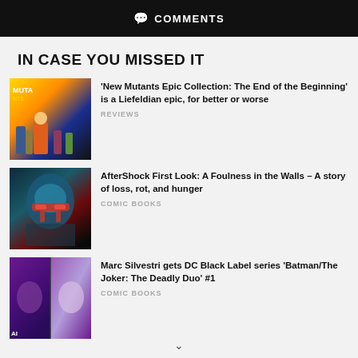COMMENTS
IN CASE YOU MISSED IT
[Figure (photo): New Mutants Epic Collection comic book cover showing group of superhero characters]
'New Mutants Epic Collection: The End of the Beginning' is a Liefeldian epic, for better or worse
REVIEWS
[Figure (photo): AfterShock comic art showing a face with red dripping glasses]
AfterShock First Look: A Foulness in the Walls – A story of loss, rot, and hunger
COMIC BOOKS
[Figure (photo): Batman/The Joker: The Deadly Duo DC Black Label comic art split panel]
Marc Silvestri gets DC Black Label series 'Batman/The Joker: The Deadly Duo' #1
COMIC BOOKS